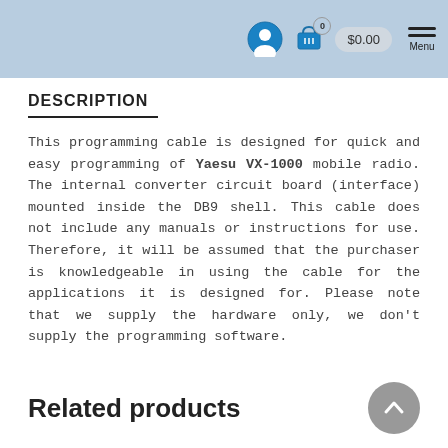0  $0.00  Menu
DESCRIPTION
This programming cable is designed for quick and easy programming of Yaesu VX-1000 mobile radio. The internal converter circuit board (interface) mounted inside the DB9 shell. This cable does not include any manuals or instructions for use. Therefore, it will be assumed that the purchaser is knowledgeable in using the cable for the applications it is designed for. Please note that we supply the hardware only, we don't supply the programming software.
Related products